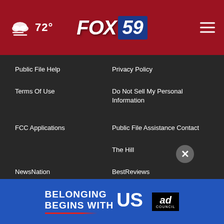72° FOX 59
Public File Help
Privacy Policy
Terms Of Use
Do Not Sell My Personal Information
FCC Applications
Public File Assistance Contact
The Hill
NewsNation
BestReviews
Content Licensing
Nexstar Digital
[Figure (logo): Nexstar logo at bottom left]
[Figure (infographic): Ad banner: BELONGING BEGINS WITH US with Ad Council badge]